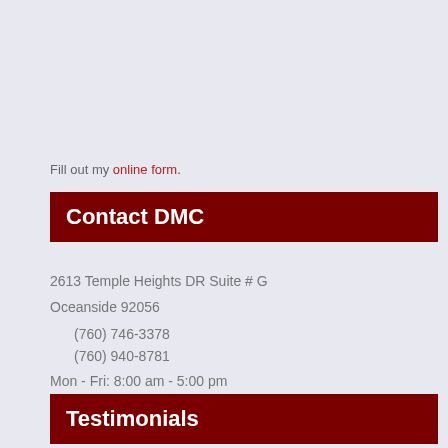Fill out my online form.
Contact DMC
2613 Temple Heights DR Suite # G
Oceanside 92056
(760) 746-3378
(760) 940-8781
Mon - Fri: 8:00 am - 5:00 pm
Sat: 9:00 am to 2:00 pm
Testimonials